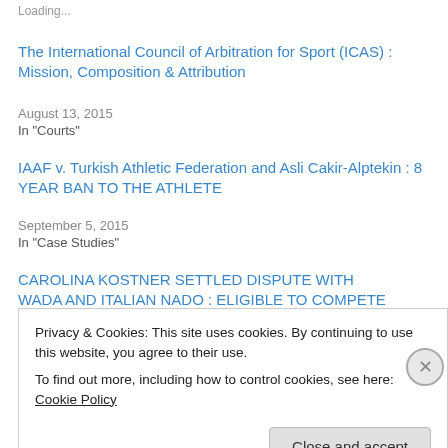Loading...
The International Council of Arbitration for Sport (ICAS) : Mission, Composition & Attribution
August 13, 2015
In "Courts"
IAAF v. Turkish Athletic Federation and Asli Cakir-Alptekin : 8 YEAR BAN TO THE ATHLETE
September 5, 2015
In "Case Studies"
CAROLINA KOSTNER SETTLED DISPUTE WITH WADA AND ITALIAN NADO : ELIGIBLE TO COMPETE IN 2016
Privacy & Cookies: This site uses cookies. By continuing to use this website, you agree to their use.
To find out more, including how to control cookies, see here: Cookie Policy
Close and accept